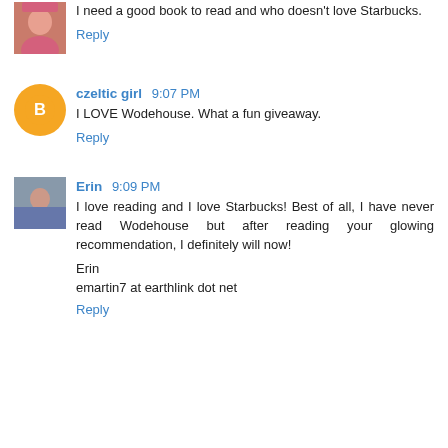I need a good book to read and who doesn't love Starbucks.
Reply
czeltic girl 9:07 PM
I LOVE Wodehouse. What a fun giveaway.
Reply
Erin 9:09 PM
I love reading and I love Starbucks! Best of all, I have never read Wodehouse but after reading your glowing recommendation, I definitely will now!

Erin
emartin7 at earthlink dot net
Reply